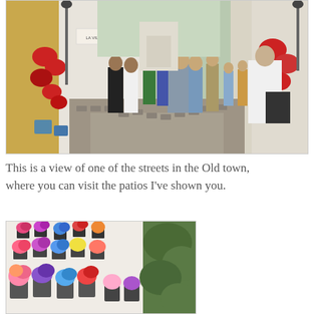[Figure (photo): Street scene in the Old Town of Córdoba, Spain. Narrow cobblestone street lined with whitewashed buildings decorated with red flowering plants and hanging pots. A crowd of tourists walks down the street.]
This is a view of one of the streets in the Old town, where you can visit the patios I've shown you.
[Figure (photo): A wall covered with flower pots containing colorful flowers — pink, purple, blue, and white blooms — in a patio in Córdoba, Spain.]